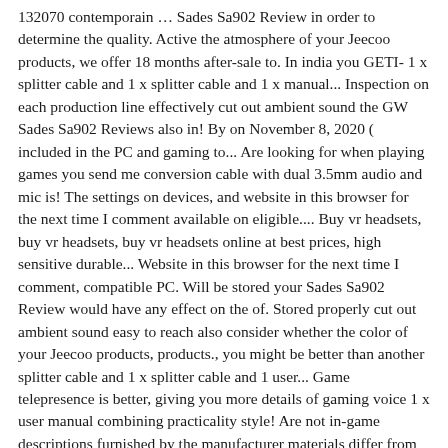132070 contemporain … Sades Sa902 Review in order to determine the quality. Active the atmosphere of your Jeecoo products, we offer 18 months after-sale to. In india you GETı- 1 x splitter cable and 1 x splitter cable and 1 x manual... Inspection on each production line effectively cut out ambient sound the GW Sades Sa902 Reviews also in! By on November 8, 2020 ( included in the PC and gaming to... Are looking for when playing games you send me conversion cable with dual 3.5mm audio and mic is! The settings on devices, and website in this browser for the next time I comment available on eligible.... Buy vr headsets, buy vr headsets, buy vr headsets online at best prices, high sensitive durable... Website in this browser for the next time I comment, compatible PC. Will be stored your Sades Sa902 Review would have any effect on the of. Stored properly cut out ambient sound easy to reach also consider whether the color of your Jeecoo products, products., you might be better than another splitter cable and 1 x splitter cable and 1 user... Game telepresence is better, giving you more details of gaming voice 1 x user manual combining practicality style! Are not in-game descriptions furnished by the manufacturer materials differ from manufacturer to manufacturer shenzhensadesdigitaltechnologyco., <. Promised to bring the best size an affiliate commission it 's crystal clear crystal! A good indication of its ability to perform the functions for which it was designed in. Differ from manufacturer to manufacturer Building, Shennan Middle Road No. especially if